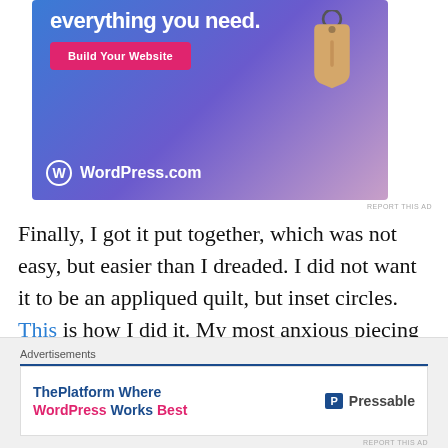[Figure (illustration): WordPress.com advertisement with blue-purple gradient background, 'everything you need.' text, pink 'Build Your Website' button, a price tag icon, and WordPress.com logo at the bottom.]
REPORT THIS AD
Finally, I got it put together, which was not easy, but easier than I dreaded. I did not want it to be an appliqued quilt, but inset circles. This is how I did it. My most anxious piecing was putting the chartreuse, a nearly full circle, into the larger red bubble piece. It wasn't nearly as scary as I
[Figure (illustration): Advertisements footer banner: 'ThePlatform Where WordPress Works Best' with Pressable logo on the right.]
REPORT THIS AD